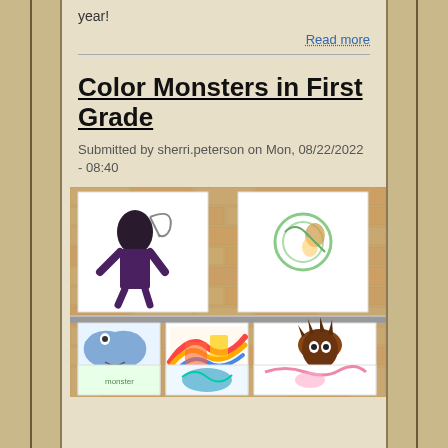year!
Read more
Color Monsters in First Grade
Submitted by sherri.peterson on Mon, 08/22/2022 - 08:40
[Figure (photo): Children's colorful monster artwork displayed on a tan brick wall. Multiple white paper drawings are mounted on the wall and along a metal rail, showing various colorful monster illustrations created by first grade students.]